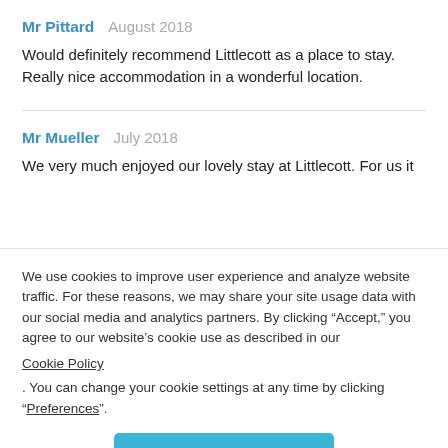Mr Pittard   August 2018
Would definitely recommend Littlecott as a place to stay. Really nice accommodation in a wonderful location.
Mr Mueller   July 2018
We very much enjoyed our lovely stay at Littlecott. For us it
We use cookies to improve user experience and analyze website traffic. For these reasons, we may share your site usage data with our social media and analytics partners. By clicking “Accept,” you agree to our website’s cookie use as described in our Cookie Policy . You can change your cookie settings at any time by clicking “Preferences”.